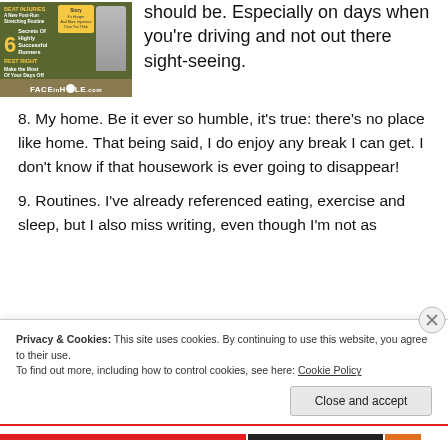[Figure (illustration): Magazine cover mockup showing a running magazine with text 'BEAT INJURIES A New Post-Run Stretching Routine', '6 Secrets Of Highly Successful Runners', 'REST RIGHT Make the Most Of Your Days Off', and FACEinHOLE.com branding at the bottom. A story badge is visible in yellow.]
should be. Especially on days when you're driving and not out there sight-seeing.
8. My home. Be it ever so humble, it's true: there's no place like home. That being said, I do enjoy any break I can get. I don't know if that housework is ever going to disappear!
9. Routines. I've already referenced eating, exercise and sleep, but I also miss writing, even though I'm not as
Privacy & Cookies: This site uses cookies. By continuing to use this website, you agree to their use.
To find out more, including how to control cookies, see here: Cookie Policy
Close and accept